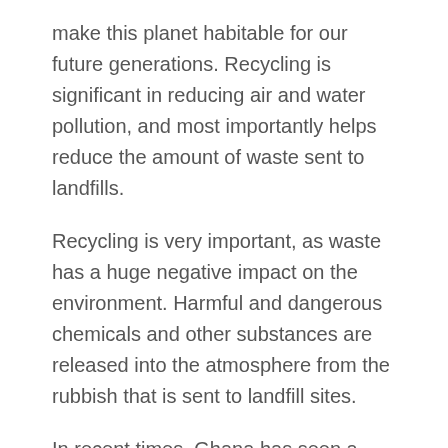make this planet habitable for our future generations. Recycling is significant in reducing air and water pollution, and most importantly helps reduce the amount of waste sent to landfills.
Recycling is very important, as waste has a huge negative impact on the environment. Harmful and dangerous chemicals and other substances are released into the atmosphere from the rubbish that is sent to landfill sites.
In recent times, Ghana has seen a steady increase in environmental activism and many organizations and startups, have worked really hard to rid the country of landfill waste, especially plastic. This article covers the top recycling companies in Ghana.